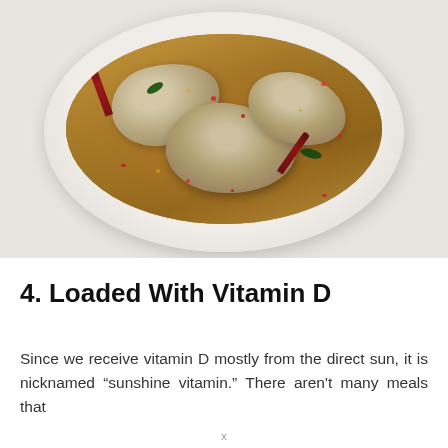[Figure (photo): Overhead view of a white bowl containing chicken pieces in a brown broth with red dried chili peppers, red pepper flakes, and green herbs]
4. Loaded With Vitamin D
Since we receive vitamin D mostly from the direct sun, it is nicknamed “sunshine vitamin.” There aren’t many meals that